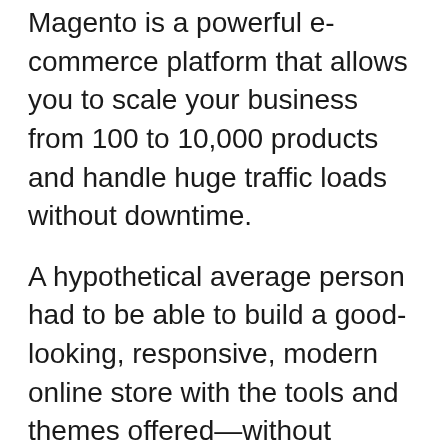Magento is a powerful e-commerce platform that allows you to scale your business from 100 to 10,000 products and handle huge traffic loads without downtime.
A hypothetical average person had to be able to build a good-looking, responsive, modern online store with the tools and themes offered—without needing a computer science or graphic design degree. They also had to be able to make it fit with their existing brand reasonably well by being able to use their own brand assets and color schemes. You can choose from a range of options, including